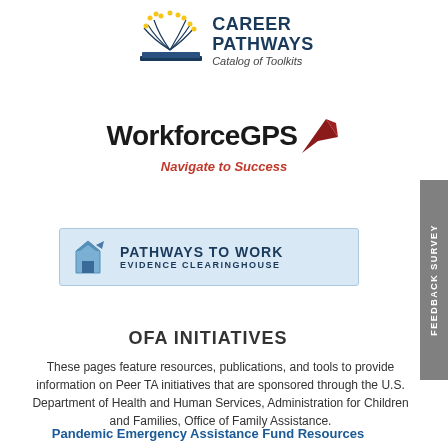[Figure (logo): Career Pathways Catalog of Toolkits logo — book graphic with yellow dots and blue text]
[Figure (logo): WorkforceGPS logo with red arrow and tagline Navigate to Success]
[Figure (logo): Pathways to Work Evidence Clearinghouse logo — light blue box with building icon]
OFA INITIATIVES
These pages feature resources, publications, and tools to provide information on Peer TA initiatives that are sponsored through the U.S. Department of Health and Human Services, Administration for Children and Families, Office of Family Assistance.
Pandemic Emergency Assistance Fund Resources